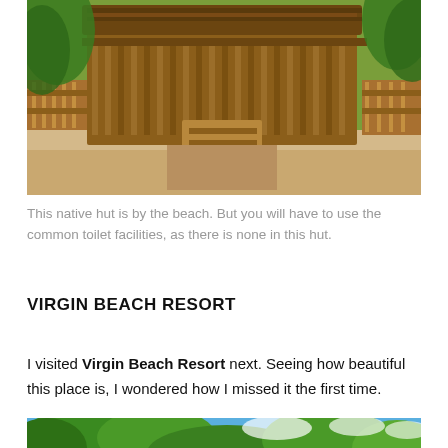[Figure (photo): Aerial or close view of a native bamboo hut structure on a sandy beach, surrounded by palm trees. The hut has bamboo railings, stairs, and fencing visible.]
This native hut is by the beach. But you will have to use the common toilet facilities, as there is none in this hut.
VIRGIN BEACH RESORT
I visited Virgin Beach Resort next. Seeing how beautiful this place is, I wondered how I missed it the first time.
[Figure (photo): Partial view of Virgin Beach Resort showing green trees and a blue sky, image is cropped at the bottom of the page.]